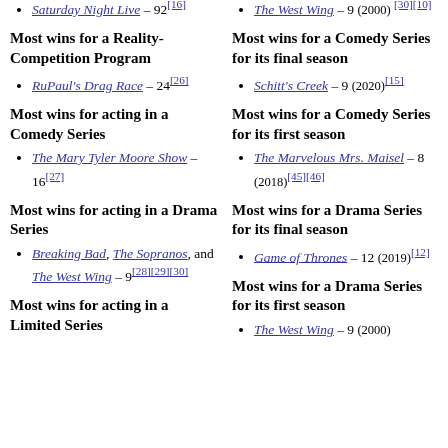Saturday Night Live – 92[16]
Most wins for a Reality-Competition Program
RuPaul's Drag Race – 24[26]
Most wins for acting in a Comedy Series
The Mary Tyler Moore Show – 16[27]
Most wins for acting in a Drama Series
Breaking Bad, The Sopranos, and The West Wing – 9[28][29][30]
Most wins for acting in a Limited Series
The West Wing – 9 (2000)[30][10]
Most wins for a Comedy Series for its final season
Schitt's Creek – 9 (2020)[15]
Most wins for a Comedy Series for its first season
The Marvelous Mrs. Maisel – 8 (2018)[45][46]
Most wins for a Drama Series for its final season
Game of Thrones – 12 (2019)[12]
Most wins for a Drama Series for its first season
The West Wing – 9 (2000)